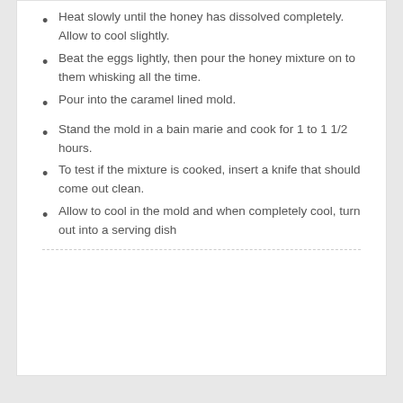Heat slowly until the honey has dissolved completely. Allow to cool slightly.
Beat the eggs lightly, then pour the honey mixture on to them whisking all the time.
Pour into the caramel lined mold.
Stand the mold in a bain marie and cook for 1 to 1 1/2 hours.
To test if the mixture is cooked, insert a knife that should come out clean.
Allow to cool in the mold and when completely cool, turn out into a serving dish